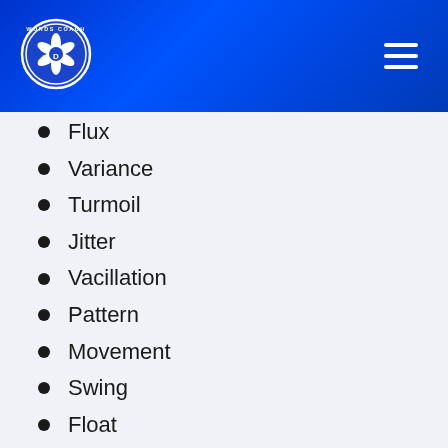[Figure (logo): Words Coach circular logo with camera aperture design in white on blue background]
Flux
Variance
Turmoil
Jitter
Vacillation
Pattern
Movement
Swing
Float